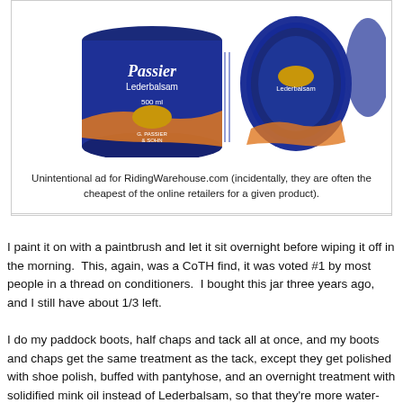[Figure (photo): Two blue tins of Passier Lederbalsam 500ml leather conditioner by G. Passier & Sohn, one upright and one lying on its side showing the lid.]
Unintentional ad for RidingWarehouse.com (incidentally, they are often the cheapest of the online retailers for a given product).
I paint it on with a paintbrush and let it sit overnight before wiping it off in the morning.  This, again, was a CoTH find, it was voted #1 by most people in a thread on conditioners.  I bought this jar three years ago, and I still have about 1/3 left.
I do my paddock boots, half chaps and tack all at once, and my boots and chaps get the same treatment as the tack, except they get polished with shoe polish, buffed with pantyhose, and an overnight treatment with solidified mink oil instead of Lederbalsam, so that they're more water-resistant.